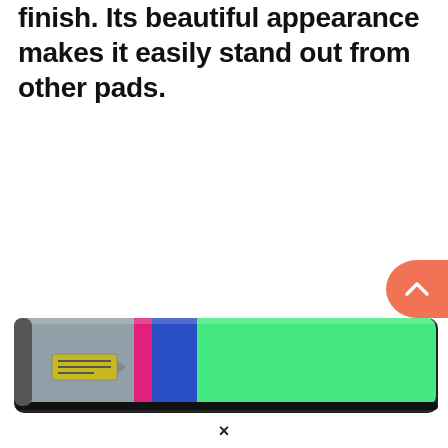finish. Its beautiful appearance makes it easily stand out from other pads.
[Figure (photo): A colorful padded mat/board bag with gray, pink, blue, and green sections, viewed from the side. Has a small label/logo patch near the left end.]
×